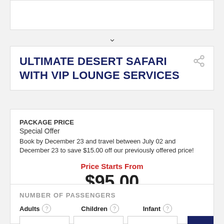ULTIMATE DESERT SAFARI WITH VIP LOUNGE SERVICES
PACKAGE PRICE
Special Offer
Book by December 23 and travel between July 02 and December 23 to save $15.00 off our previously offered price!
Price Starts From
$95.00
$110.00 OUR SAVING $15.00
NUMBER OF PASSENGERS
Adults  Children  Infant